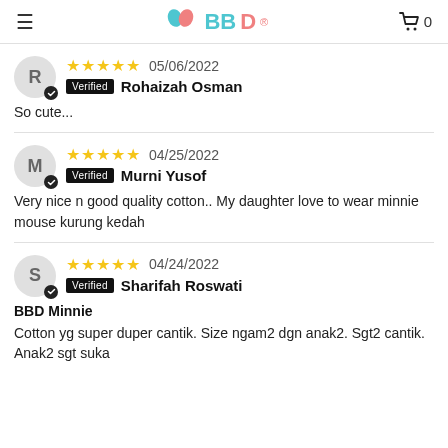BBD
★★★★★ 05/06/2022 Verified Rohaizah Osman
So cute...
★★★★★ 04/25/2022 Verified Murni Yusof
Very nice n good quality cotton.. My daughter love to wear minnie mouse kurung kedah
★★★★★ 04/24/2022 Verified Sharifah Roswati
BBD Minnie
Cotton yg super duper cantik. Size ngam2 dgn anak2. Sgt2 cantik. Anak2 sgt suka